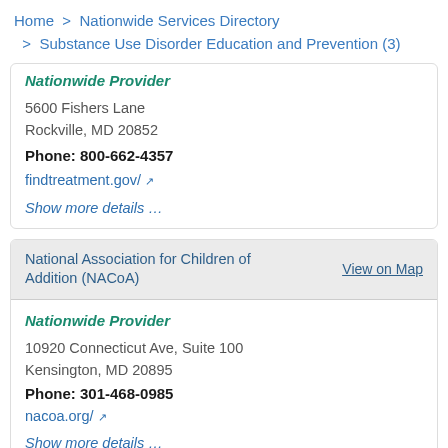Home > Nationwide Services Directory > Substance Use Disorder Education and Prevention (3)
Nationwide Provider
5600 Fishers Lane
Rockville, MD 20852
Phone: 800-662-4357
findtreatment.gov/
Show more details…
National Association for Children of Addition (NACoA)
View on Map
Nationwide Provider
10920 Connecticut Ave, Suite 100
Kensington, MD 20895
Phone: 301-468-0985
nacoa.org/
Show more details…